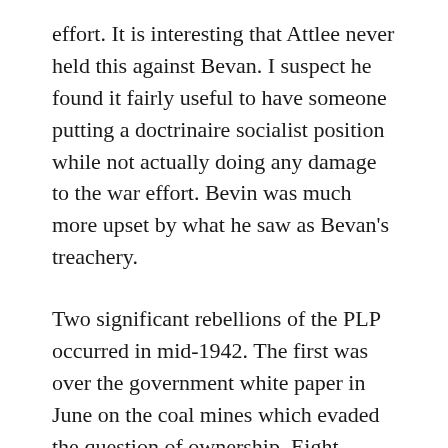effort. It is interesting that Attlee never held this against Bevan. I suspect he found it fairly useful to have someone putting a doctrinaire socialist position while not actually doing any damage to the war effort. Bevin was much more upset by what he saw as Bevan's treachery.
Two significant rebellions of the PLP occurred in mid-1942. The first was over the government white paper in June on the coal mines which evaded the question of ownership. Eight Labour MPs went into the lobbies against the government. In the division in July on the size of the increase in old age pensions 63